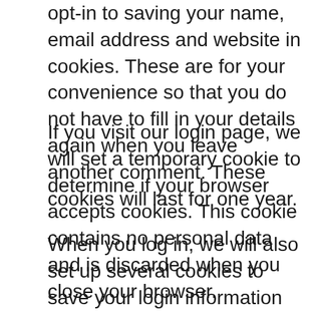opt-in to saving your name, email address and website in cookies. These are for your convenience so that you do not have to fill in your details again when you leave another comment. These cookies will last for one year.
If you visit our login page, we will set a temporary cookie to determine if your browser accepts cookies. This cookie contains no personal data and is discarded when you close your browser.
When you log in, we will also set up several cookies to save your login information and your screen display choices. Login cookies last for two days, and screen options cookies last for a year. If you select “Remember Me”,